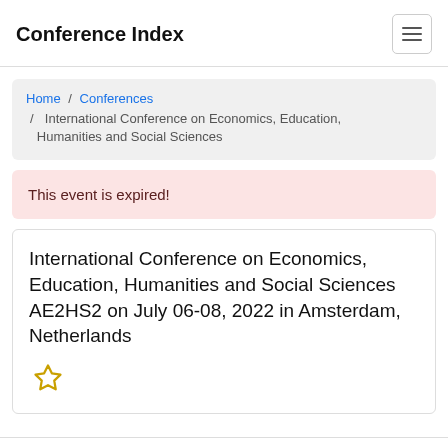Conference Index
Home / Conferences / International Conference on Economics, Education, Humanities and Social Sciences
This event is expired!
International Conference on Economics, Education, Humanities and Social Sciences AE2HS2 on July 06-08, 2022 in Amsterdam, Netherlands